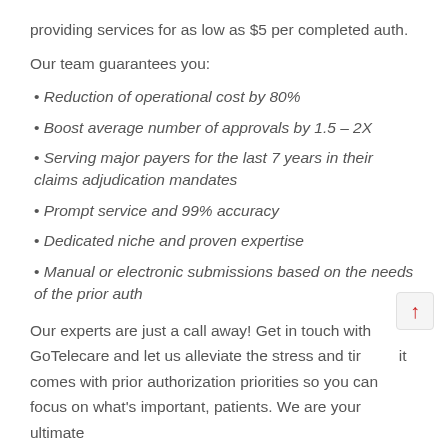providing services for as low as $5 per completed auth.
Our team guarantees you:
Reduction of operational cost by 80%
Boost average number of approvals by 1.5 – 2X
Serving major payers for the last 7 years in their claims adjudication mandates
Prompt service and 99% accuracy
Dedicated niche and proven expertise
Manual or electronic submissions based on the needs of the prior auth
Our experts are just a call away! Get in touch with GoTelecare and let us alleviate the stress and time it comes with prior authorization priorities so you can focus on what's important, patients. We are your ultimate